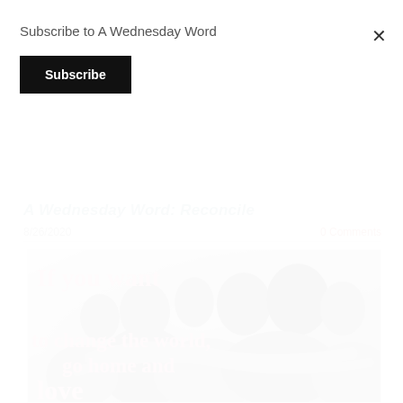Subscribe to A Wednesday Word
Subscribe
A Wednesday Word: Reconcile
8/26/2020
0 Comments
[Figure (photo): Group of diverse people in a huddle/group hug, seen from above in black and white. Pink overlaid text reads: 'If you want to change the world, go home and love...' (Mother Teresa quote inspirational image)]